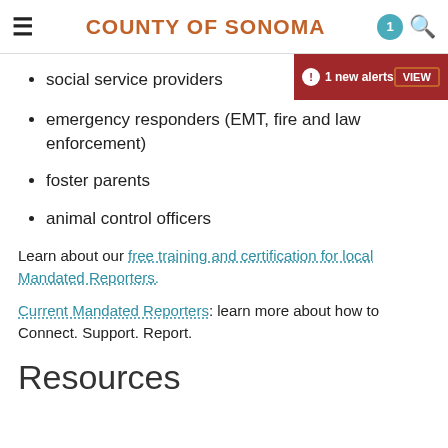COUNTY OF SONOMA
[Figure (screenshot): Alert bar showing '1 new alerts' with VIEW button and close X, on dark red background]
social service providers
emergency responders (EMT, fire and law enforcement)
foster parents
animal control officers
Learn about our free training and certification for local Mandated Reporters.
Current Mandated Reporters: learn more about how to Connect. Support. Report.
Resources